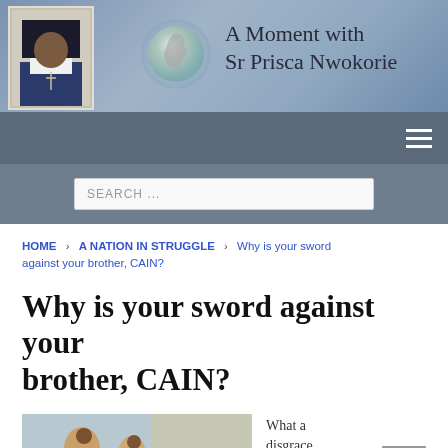[Figure (photo): Website header banner with a photo of Sr Prisca Nwokorie (a nun in blue habit), a globe icon showing Africa, and the text 'A Moment with Sr Prisca Nwokorie' on a blue-grey gradient background.]
Navigation bar with hamburger menu icon
SEARCH ...
HOME > A NATION IN STRUGGLE > Why is your sword against your brother, CAIN?
Why is your sword against your brother, CAIN?
[Figure (photo): Painting depicting a biblical scene, likely Cain and Abel, showing figures in a landscape with earthy tones.]
What a disgrace to be